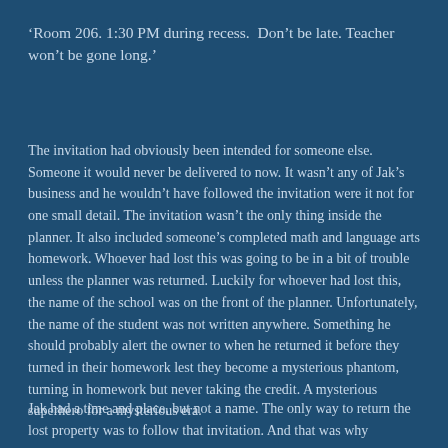‘Room 206. 1:30 PM during recess. Don’t be late. Teacher won’t be gone long.’
The invitation had obviously been intended for someone else. Someone it would never be delivered to now. It wasn’t any of Jak’s business and he wouldn’t have followed the invitation were it not for one small detail. The invitation wasn’t the only thing inside the planner. It also included someone’s completed math and language arts homework. Whoever had lost this was going to be in a bit of trouble unless the planner was returned. Luckily for whoever had lost this, the name of the school was on the front of the planner. Unfortunately, the name of the student was not written anywhere. Something he should probably alert the owner to when he returned it before they turned in their homework lest they become a mysterious phantom, turning in homework but never taking the credit. A mysterious superhero for a mysterious era.
Jak had a time and place, but not a name. The only way to return the lost property was to follow that invitation. And that was why